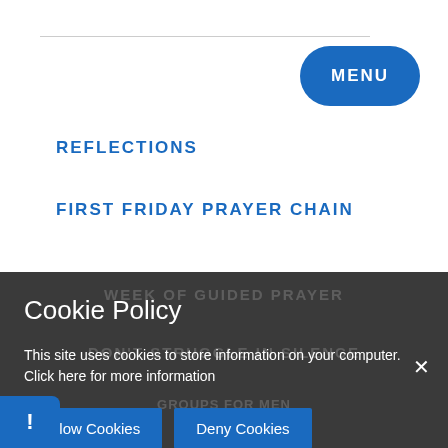MENU
REFLECTIONS
FIRST FRIDAY PRAYER CHAIN
WEEK OF GUIDED PRAYER
DON'T STRUGGLE IN SILENCE
GROUPS FOR MEN
Cookie Policy
This site uses cookies to store information on your computer. Click here for more information
Allow Cookies
Deny Cookies